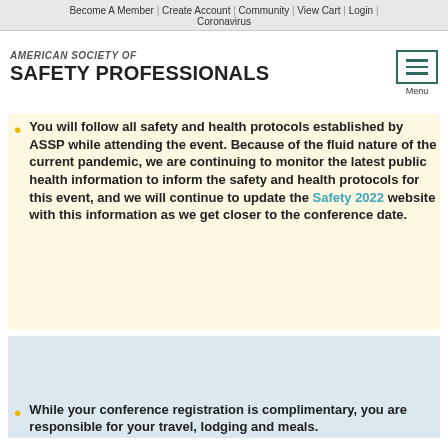Become A Member | Create Account | Community | View Cart | Login | Coronavirus
AMERICAN SOCIETY OF
SAFETY PROFESSIONALS
Like most websites, ASSP uses cookies, in order to deliver a personalized, responsive service to our visitors. This is done using simple text files called cookies which sit on your computer. These cookies are safe and secure and are used only by ASSP or the trusted partners we work with. By continuing, you agree to our terms of use and privacy policy. Learn More
You will follow all safety and health protocols established by ASSP while attending the event. Because of the fluid nature of the current pandemic, we are continuing to monitor the latest public health information to inform the safety and health protocols for this event, and we will continue to update the Safety 2022 website with this information as we get closer to the conference date.
While your conference registration is complimentary, you are responsible for your travel, lodging and meals.